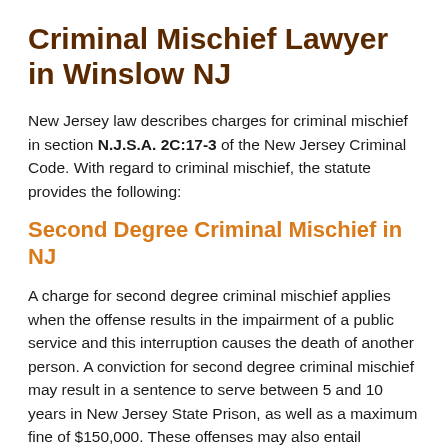Criminal Mischief Lawyer in Winslow NJ
New Jersey law describes charges for criminal mischief in section N.J.S.A. 2C:17-3 of the New Jersey Criminal Code. With regard to criminal mischief, the statute provides the following:
Second Degree Criminal Mischief in NJ
A charge for second degree criminal mischief applies when the offense results in the impairment of a public service and this interruption causes the death of another person. A conviction for second degree criminal mischief may result in a sentence to serve between 5 and 10 years in New Jersey State Prison, as well as a maximum fine of $150,000. These offenses may also entail mandatory restitution payments and community service.